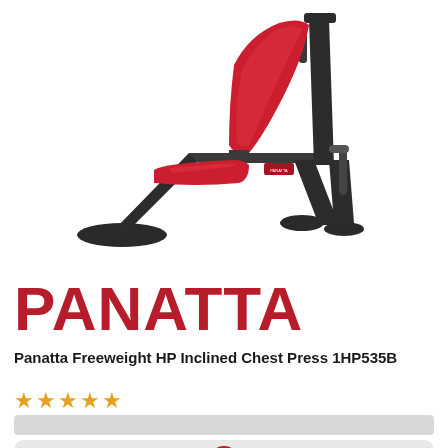[Figure (photo): Panatta Freeweight HP Inclined Chest Press bench with red upholstery and dark metal frame, shown at an angle on white background]
PANATTA
Panatta Freeweight HP Inclined Chest Press 1HP535B
[Figure (other): Five gold/orange star rating icons]
[Figure (other): Gray bar UI element (partially visible)]
[Figure (other): Light gray rounded card with red circle icon at bottom, partially cut off]